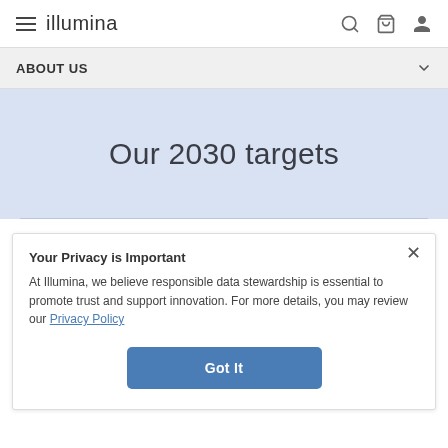illumina
ABOUT US
Our 2030 targets
Your Privacy is Important
At Illumina, we believe responsible data stewardship is essential to promote trust and support innovation. For more details, you may review our Privacy Policy
Got It